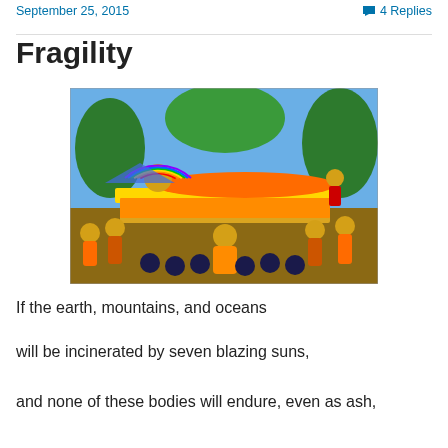September 25, 2015   4 Replies
Fragility
[Figure (photo): A traditional Buddhist painting depicting the parinirvana (death) of the Buddha, who lies on a decorated bier surrounded by mourning monks in orange robes, with a rainbow halo around his head and greenery in the background.]
If the earth, mountains, and oceans
will be incinerated by seven blazing suns,
and none of these bodies will endure, even as ash,